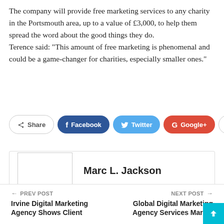The company will provide free marketing services to any charity in the Portsmouth area, up to a value of £3,000, to help them spread the word about the good things they do. Terence said: “This amount of free marketing is phenomenal and could be a game-changer for charities, especially smaller ones.”
[Figure (other): Social share buttons: Share, Facebook, Twitter, Google+, and a plus button]
[Figure (other): Author card with avatar placeholder and name Marc L. Jackson with a globe/website icon]
PREV POST
Irvine Digital Marketing Agency Shows Client
NEXT POST
Global Digital Marketing Agency Services Market